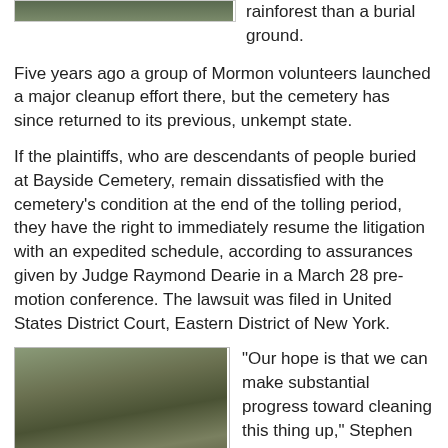[Figure (photo): Top partial photo of a cemetery or overgrown area, partially cropped at top of page]
rainforest than a burial ground.
Five years ago a group of Mormon volunteers launched a major cleanup effort there, but the cemetery has since returned to its previous, unkempt state.
If the plaintiffs, who are descendants of people buried at Bayside Cemetery, remain dissatisfied with the cemetery's condition at the end of the tolling period, they have the right to immediately resume the litigation with an expedited schedule, according to assurances given by Judge Raymond Dearie in a March 28 pre-motion conference. The lawsuit was filed in United States District Court, Eastern District of New York.
[Figure (photo): Photo of cemetery with overgrown vegetation, fallen trees or branches, and old gravestones visible among bare winter trees]
“Our hope is that we can make substantial progress toward cleaning this thing up,” Stephen Axinn, Shaare Zedek’s attorney, told The Jewish Week. In the next few